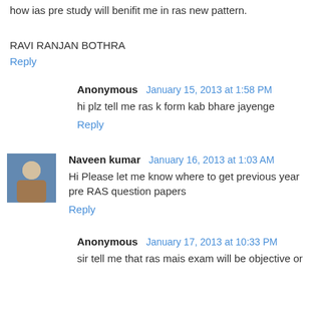how ias pre study will benifit me in ras new pattern.
RAVI RANJAN BOTHRA
Reply
Anonymous  January 15, 2013 at 1:58 PM
hi plz tell me ras k form kab bhare jayenge
Reply
Naveen kumar  January 16, 2013 at 1:03 AM
Hi Please let me know where to get previous year pre RAS question papers
Reply
Anonymous  January 17, 2013 at 10:33 PM
sir tell me that ras mais exam will be objective or